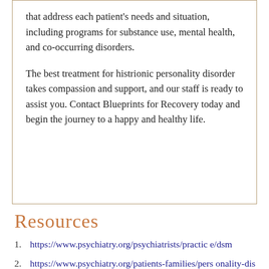that address each patient's needs and situation, including programs for substance use, mental health, and co-occurring disorders.
The best treatment for histrionic personality disorder takes compassion and support, and our staff is ready to assist you. Contact Blueprints for Recovery today and begin the journey to a happy and healthy life.
Resources
https://www.psychiatry.org/psychiatrists/practice/dsm
https://www.psychiatry.org/patients-families/personality-disorders/what-are-personality-disorders